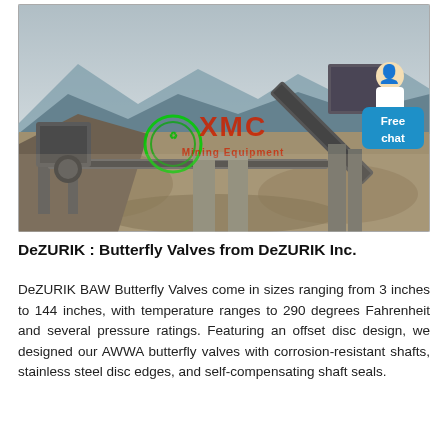[Figure (photo): Outdoor industrial mining/crushing plant with conveyor belts, concrete structures, machinery, and stockpiles of crushed stone. Mountains visible in background. XMC Mining Equipment watermark logo overlaid in red and green. A customer service avatar (woman in white) with a blue 'Free chat' button appears in the bottom-right corner of the image.]
DeZURIK : Butterfly Valves from DeZURIK Inc.
DeZURIK BAW Butterfly Valves come in sizes ranging from 3 inches to 144 inches, with temperature ranges to 290 degrees Fahrenheit and several pressure ratings. Featuring an offset disc design, we designed our AWWA butterfly valves with corrosion-resistant shafts, stainless steel disc edges, and self-compensating shaft seals.